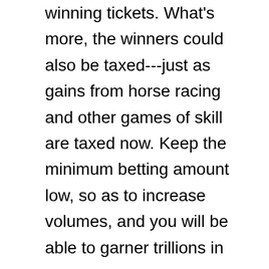winning tickets. What's more, the winners could also be taxed---just as gains from horse racing and other games of skill are taxed now. Keep the minimum betting amount low, so as to increase volumes, and you will be able to garner trillions in revenues.
Within weeks of implementing this grand scheme, people all over the country will be going around with the budget papers in their hands, trying to figure out what the heck it all means. Within months, they would know all about the types of deficits, about the amounts allocated to various departments, about the